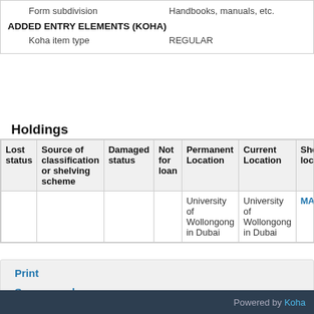|  |  |
| --- | --- |
| Form subdivision | Handbooks, manuals, etc. |
| ADDED ENTRY ELEMENTS (KOHA) |  |
| Koha item type | REGULAR |
Holdings
| Lost status | Source of classification or shelving scheme | Damaged status | Not for loan | Permanent Location | Current Location | Shel loca... |
| --- | --- | --- | --- | --- | --- | --- |
|  |  |  |  | University of Wollongong in Dubai | University of Wollongong in Dubai | MAIN |
Print
Save record ▾
More searches ▾
Powered by Koha